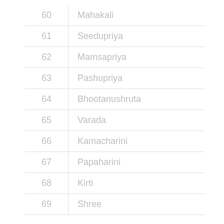| Number | Name |
| --- | --- |
| 60 | Mahakali |
| 61 | Seedupriya |
| 62 | Mamsapriya |
| 63 | Pashupriya |
| 64 | Bhootanushruta |
| 65 | Varada |
| 66 | Kamacharini |
| 67 | Papaharini |
| 68 | Kirti |
| 69 | Shree |